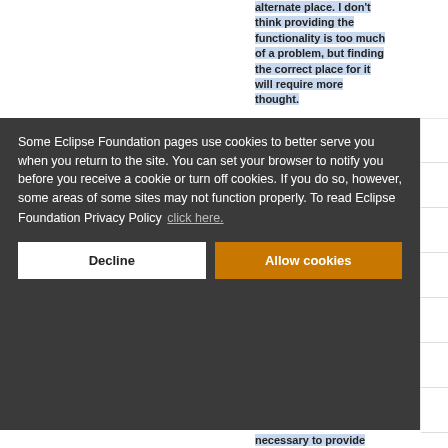alternate place. I don't think providing the functionality is too much of a problem, but finding the correct place for it will require more thought.
Some Eclipse Foundation pages use cookies to better serve you when you return to the site. You can set your browser to notify you before you receive a cookie or turn off cookies. If you do so, however, some areas of some sites may not function properly. To read Eclipse Foundation Privacy Policy click here.
Decline
Allow cookies
necessary to provide